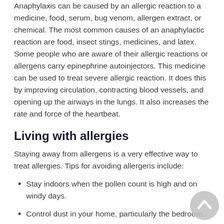Anaphylaxis can be caused by an allergic reaction to a medicine, food, serum, bug venom, allergen extract, or chemical. The most common causes of an anaphylactic reaction are food, insect stings, medicines, and latex. Some people who are aware of their allergic reactions or allergens carry epinephrine autoinjectors. This medicine can be used to treat severe allergic reaction. It does this by improving circulation, contracting blood vessels, and opening up the airways in the lungs. It also increases the rate and force of the heartbeat.
Living with allergies
Staying away from allergens is a very effective way to treat allergies. Tips for avoiding allergens include:
Stay indoors when the pollen count is high and on windy days.
Control dust in your home, particularly the bedroom.